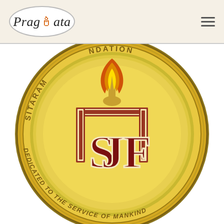Pragyata
[Figure (logo): Sitaram Foundation seal/medallion — a large circular gold coin with the letters SJ/SF in dark red with cream trim at the center, a torch with flame at the top, the text 'SITARAM... NDATION' (Sitaram Foundation) curved along the top arc, and 'DEDICATED TO THE SERVICE OF MANKIND' curved along the bottom arc. The seal has concentric gold rings and a rich golden background.]